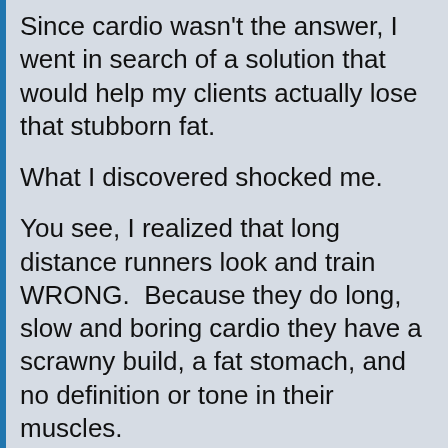Since cardio wasn't the answer, I went in search of a solution that would help my clients actually lose that stubborn fat.
What I discovered shocked me.
You see, I realized that long distance runners look and train WRONG.  Because they do long, slow and boring cardio they have a scrawny build, a fat stomach, and no definition or tone in their muscles.
They don't look good...they look sick.
But sprinters and other athletes look like jungle cats.  They're thin and have lean, sexy muscle.
So I decided to reverse engineer the sprinter's body by having my clients train using short burst workouts that lasted 20 minutes or less.